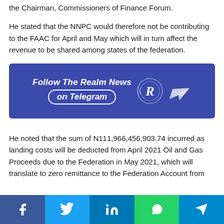the Chairman, Commissioners of Finance Forum.
He stated that the NNPC would therefore not be contributing to the FAAC for April and May which will in turn affect the revenue to be shared among states of the federation.
[Figure (infographic): Blue banner with text 'Follow The Realm News on Telegram' with logo and paper plane icon]
He noted that the sum of N111,966,456,903.74 incurred as landing costs will be deducted from April 2021 Oil and Gas Proceeds due to the Federation in May 2021, which will translate to zero remittance to the Federation Account from
Social share buttons: Facebook, Twitter, LinkedIn, WhatsApp, Telegram